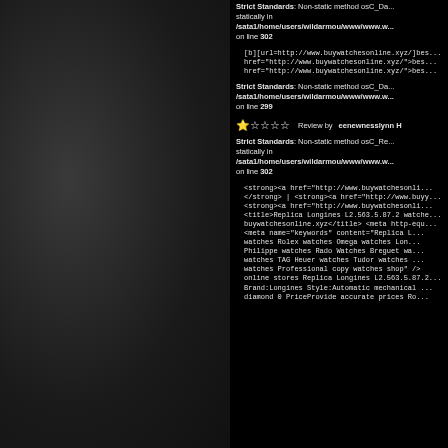Strict Standards: Non-static method osC_Da... statically in /sata1/home/users/wildarmou/www/www.w... on line 302
[b][url=http://www.buywatchesonline.xyz/]bes... href="http://www.buywatchesonline.xyz/">bes... href="http://www.buywatchesonline.xyz/">bes...
Strict Standards: Non-static method osC_Da... /sata1/home/users/wildarmou/www/www.w... on line 299
Review by eenewnesslynn H
Strict Standards: Non-static method osC_Re... statically in /sata1/home/users/wildarmou/www/www.w... on line 302
<strong><a href="http://www.buywatchesonli... </strong> | <strong><a href="http://www.buyy... <strong><a href="http://www.buywatchesonli... <title>Replica Longines L2.563.5.87.2 watche... buywatchesonline.xyz</title> <meta http-equ... <meta name="keywords" content="Replica L... watches Rolex watches Omega watches Lon... Philippe watches Rado Watches Breguet wa... watches TAG Heuer watches Tudor watches ... watches Professional copy watches shop" /> ... online stores Replica Longines L2.563.5.87.2... Brand:Longines Style:Automatic mechanical ... diamond 0 PriceProvide accurate prices Ro...